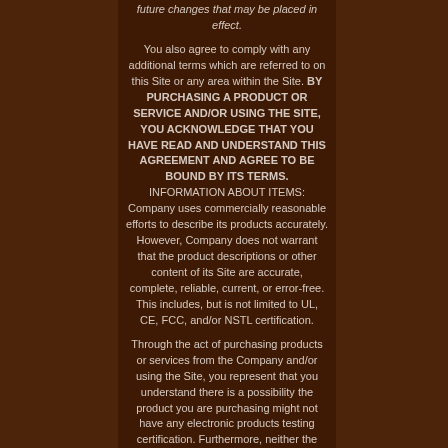future changes that may be placed in effect.

You also agree to comply with any additional terms which are referred to on this Site or any area within the Site. BY PURCHASING A PRODUCT OR SERVICE AND/OR USING THE SITE, YOU ACKNOWLEDGE THAT YOU HAVE READ AND UNDERSTAND THIS AGREEMENT AND AGREE TO BE BOUND BY ITS TERMS. INFORMATION ABOUT ITEMS: Company uses commercially reasonable efforts to describe its products accurately. However, Company does not warrant that the product descriptions or other content of its Site are accurate, complete, reliable, current, or error-free. This includes, but is not limited to UL, CE, FCC, and/or NSTL certification.

Through the act of purchasing products or services from the Company and/or using the Site, you represent that you understand there is a possibility the product you are purchasing might not have any electronic products testing certification. Furthermore, neither the Site owner nor any third party or data or content provider shall be liable in any way to you or to any other person, firm or corporation whatsoever for any loss, liability, damage (whether direct or consequential), personal injury or expense of any